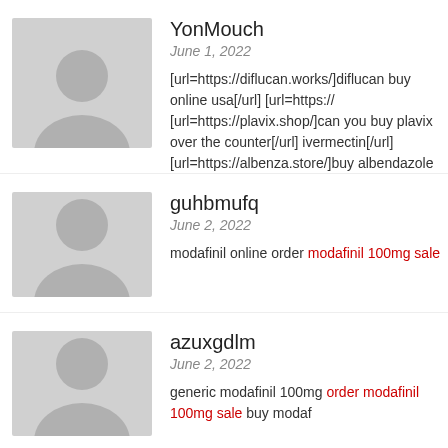[Figure (illustration): Gray avatar silhouette icon for user YonMouch]
YonMouch
June 1, 2022
[url=https://diflucan.works/]diflucan buy online usa[/url] [url=https://... [url=https://plavix.shop/]can you buy plavix over the counter[/url] ivermectin[/url] [url=https://albenza.store/]buy albendazole on lin... synthroid[/url] [url=https://phenergan.shop/]phenergan lowest co...
[Figure (illustration): Gray avatar silhouette icon for user guhbmufq]
guhbmufq
June 2, 2022
modafinil online order modafinil 100mg sale
[Figure (illustration): Gray avatar silhouette icon for user azuxgdlm]
azuxgdlm
June 2, 2022
generic modafinil 100mg order modafinil 100mg sale buy modaf...
[Figure (illustration): Gray avatar silhouette icon for user Chuzmc]
Chuzmc
June 3, 2022
buy lasix for sale – buy ivermectin canada ivermectin for sale